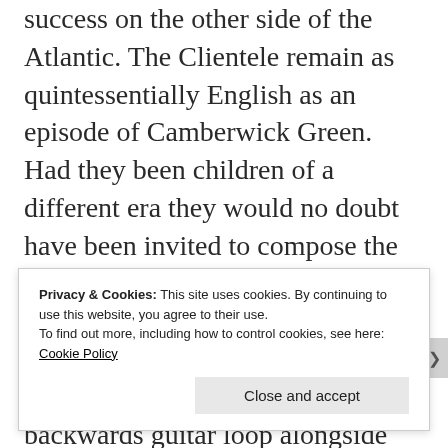success on the other side of the Atlantic. The Clientele remain as quintessentially English as an episode of Camberwick Green. Had they been children of a different era they would no doubt have been invited to compose the soundtrack for Bronco Bullfrog, Here We Go Round The Mulberry Bush or some other cult late 1960s Brit youth film. The occasional backwards guitar loop alongside MacLean's penchant for colourful cravats places the band at least spiritually and aesthetically in that era. So, right place...
Privacy & Cookies: This site uses cookies. By continuing to use this website, you agree to their use.
To find out more, including how to control cookies, see here:
Cookie Policy
Close and accept